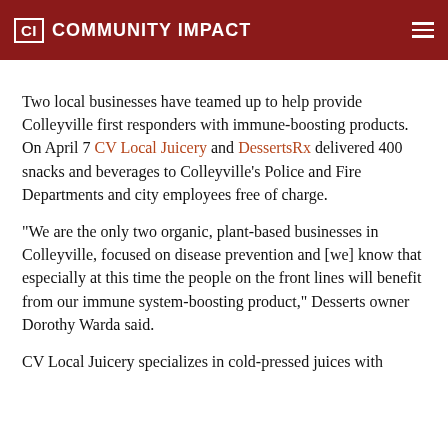CI COMMUNITY IMPACT
Two local businesses have teamed up to help provide Colleyville first responders with immune-boosting products. On April 7 CV Local Juicery and DessertsRx delivered 400 snacks and beverages to Colleyville's Police and Fire Departments and city employees free of charge.
“We are the only two organic, plant-based businesses in Colleyville, focused on disease prevention and [we] know that especially at this time the people on the front lines will benefit from our immune system-boosting product,” Desserts owner Dorothy Warda said.
CV Local Juicery specializes in cold-pressed juices with